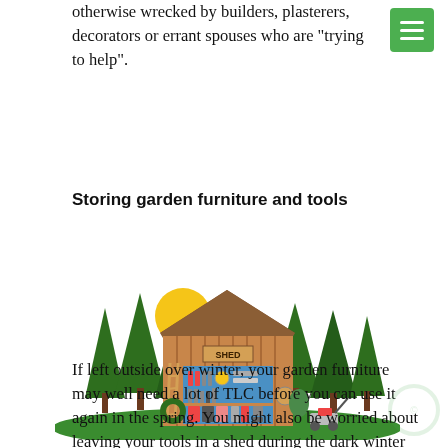otherwise wrecked by builders, plasterers, decorators or errant spouses who are "trying to help".
Storing garden furniture and tools
[Figure (illustration): Colourful illustration of a wooden garden shed with its front wall removed to show storage inside: tools hanging on a blue pegboard, shelves with garden supplies, a ladder, a lawnmower outside, surrounded by green trees and a yellow sun.]
If left outside over winter, your garden furniture may well need a lot of TLC before you can use it again in the spring. You might also be worried about leaving your tools in a shed during the dark winter